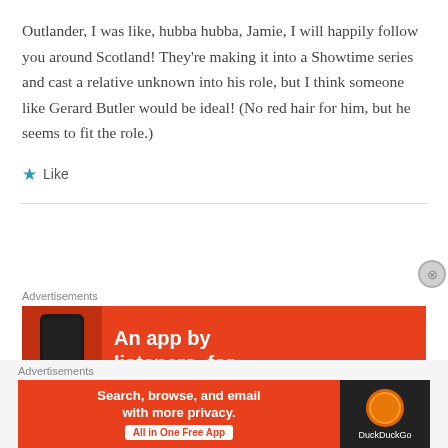Outlander, I was like, hubba hubba, Jamie, I will happily follow you around Scotland! They're making it into a Showtime series and cast a relative unknown into his role, but I think someone like Gerard Butler would be ideal! (No red hair for him, but he seems to fit the role.)
★ Like
[Figure (other): Advertisement banner with red background showing text 'An app by listeners, for' with a phone image on the left]
[Figure (other): DuckDuckGo advertisement banner with red and dark sections: 'Search, browse, and email with more privacy. All in One Free App' with DuckDuckGo logo on the right]